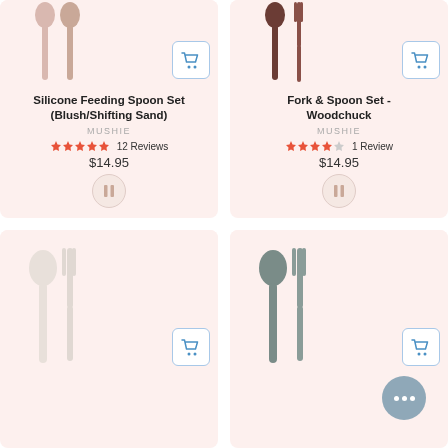[Figure (photo): Product card for Silicone Feeding Spoon Set (Blush/Shifting Sand) by Mushie. Shows two silicone spoons in blush/sand colors on pink background with cart button. 5 stars, 12 Reviews, $14.95, pause button.]
[Figure (photo): Product card for Fork & Spoon Set - Woodchuck by Mushie. Shows spoon and fork in dark woodchuck colors on pink background with cart button. 3.5 stars, 1 Review, $14.95, pause button.]
[Figure (photo): Product card showing white/ivory silicone spoon and fork on pink background with gift icon and cart button.]
[Figure (photo): Product card showing gray/sage silicone spoon and fork on pink background with gift icon, chat bubble overlay, and cart button.]